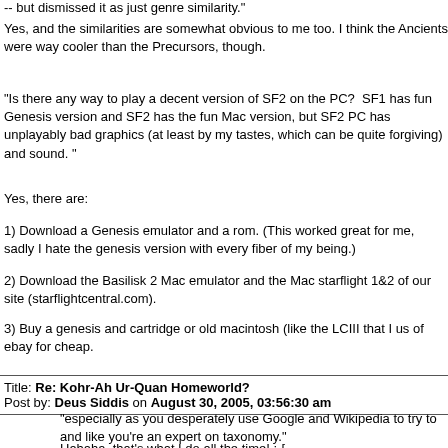-- but dismissed it as just genre similarity."
Yes, and the similarities are somewhat obvious to me too. I think the Ancients were way cooler than the Precursors, though.
"Is there any way to play a decent version of SF2 on the PC?  SF1 has fun Genesis version and SF2 has the fun Mac version, but SF2 PC has unplayably bad graphics (at least by my tastes, which can be quite forgiving) and sound. "
Yes, there are:
1) Download a Genesis emulator and a rom. (This worked great for me, sadly I hate the genesis version with every fiber of my being.)
2) Download the Basilisk 2 Mac emulator and the Mac starflight 1&2 of our site (starflightcentral.com).
3) Buy a genesis and cartridge or old macintosh (like the LCIII that I us of ebay for cheap.
Title: Re: Kohr-Ah Ur-Quan Homeworld?
Post by: Deus Siddis on August 30, 2005, 03:56:30 am
"especially as you desperately use Google and Wikipedia to try to and like you're an expert on taxonomy."
Hahaha, that's what I do all the time! ;-[